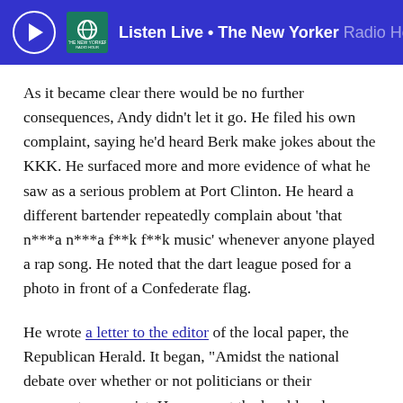Listen Live • The New Yorker Radio Hour
As it became clear there would be no further consequences, Andy didn't let it go. He filed his own complaint, saying he'd heard Berk make jokes about the KKK. He surfaced more and more evidence of what he saw as a serious problem at Port Clinton. He heard a different bartender repeatedly complain about 'that n***a n***a f**k f**k music' whenever anyone played a rap song. He noted that the dart league posed for a photo in front of a Confederate flag.
He wrote a letter to the editor of the local paper, the Republican Herald. It began, "Amidst the national debate over whether or not politicians or their comments are racist. However, at the local level, a fraction which..."